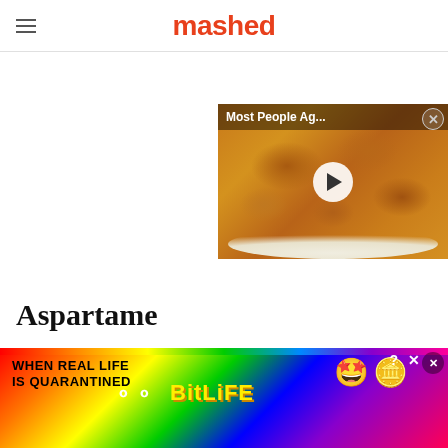mashed
[Figure (screenshot): Video thumbnail showing fried chicken pieces on a plate with a play button overlay. Title bar reads 'Most People Ag...' and a close button (X) in the top right corner.]
Aspartame
[Figure (photo): Partial article image strip showing blurred background, likely related to the Aspartame article.]
[Figure (screenshot): Advertisement banner for BitLife game showing 'WHEN REAL LIFE IS QUARANTINED' text with rainbow background, BitLife logo, emoji characters (star-eyes face and coin), and close/X buttons.]